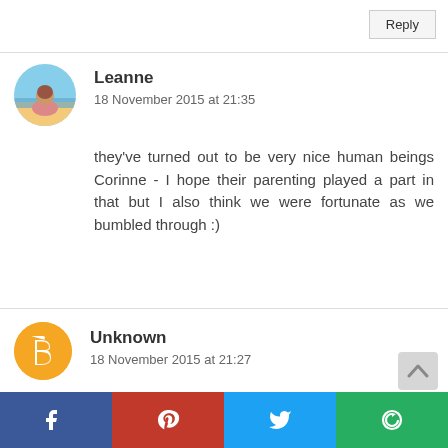Reply
Leanne
18 November 2015 at 21:35
they've turned out to be very nice human beings Corinne - I hope their parenting played a part in that but I also think we were fortunate as we bumbled through :)
[Figure (photo): Circular avatar photo of commenter Leanne]
Unknown
18 November 2015 at 21:27
I never was this :-) but for me I know there was a gift and never being the young mother. I was not not not ready.
[Figure (logo): Blogger icon avatar for Unknown commenter]
[Figure (infographic): Social sharing bar with Facebook, Pinterest, Twitter, and Google+ buttons]